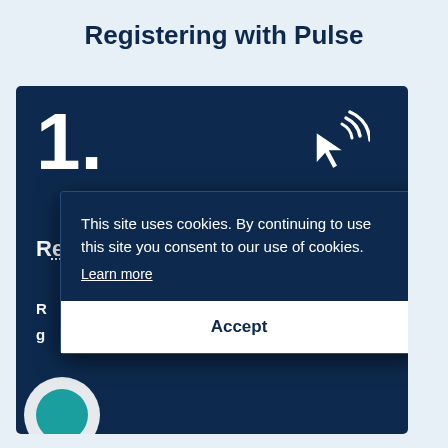Registering with Pulse
[Figure (screenshot): Dark navy blue card with large white '1.' step number and a cursor/click icon in the top right. Below shows partially visible text 'Register your interest' and truncated body text starting with 'R' and 'g'. A teal vertical tab on the right reads 'how are we doing?'. A cookie consent overlay covers the lower portion showing: 'This site uses cookies. By continuing to use this site you consent to our use of cookies. Learn more' and an Accept button.]
This site uses cookies. By continuing to use this site you consent to our use of cookies.
Learn more
Accept